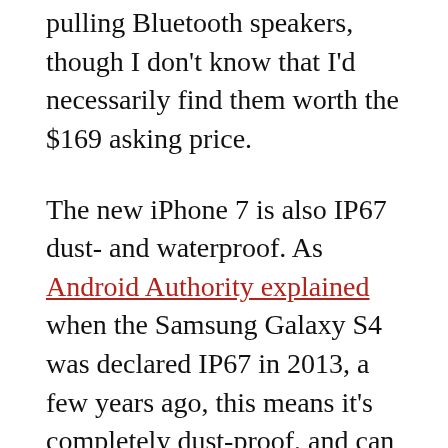pulling Bluetooth speakers, though I don't know that I'd necessarily find them worth the $169 asking price.
The new iPhone 7 is also IP67 dust- and waterproof. As Android Authority explained when the Samsung Galaxy S4 was declared IP67 in 2013, a few years ago, this means it's completely dust-proof, and can survive immersion at up to 1 meter depth for up to 30 minutes. That's not quite as good as the 50-meter rating for the new Apple Watch, and you're obviously not expected to take your phone swimming or scuba diving, but it does mean the phone will probably survive the odd accidental drop into pool or tub. Which is